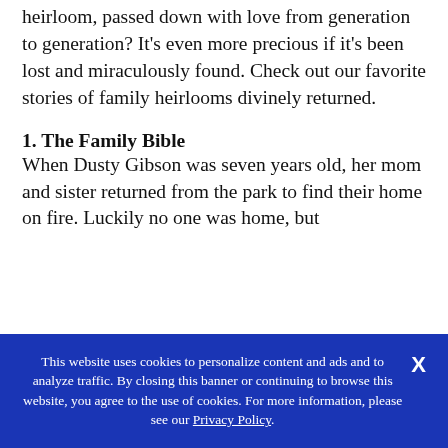Is there anything more precious than a family heirloom, passed down with love from generation to generation? It's even more precious if it's been lost and miraculously found. Check out our favorite stories of family heirlooms divinely returned.
1. The Family Bible
When Dusty Gibson was seven years old, her mom and sister returned from the park to find their home on fire. Luckily no one was home, but
This website uses cookies to personalize content and ads and to analyze traffic. By closing this banner or continuing to browse this website, you agree to the use of cookies. For more information, please see our Privacy Policy.